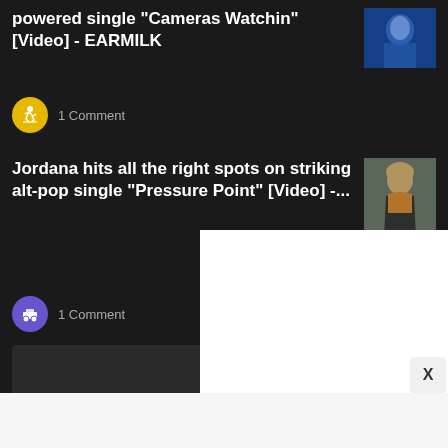powered single "Cameras Watchin" [Video] - EARMILK
[Figure (photo): Thumbnail image with blue tones showing a person]
1 Comment
Jordana hits all the right spots on striking alt-pop single “Pressure Point” [Video] -...
[Figure (photo): Thumbnail image showing a person with blonde hair in an orange sweater]
1 Comment
[Figure (screenshot): White overlay panel (advertisement or popup)]
X